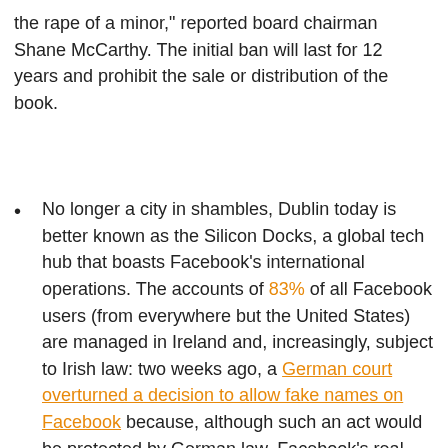the rape of a minor," reported board chairman Shane McCarthy. The initial ban will last for 12 years and prohibit the sale or distribution of the book.
No longer a city in shambles, Dublin today is better known as the Silicon Docks, a global tech hub that boasts Facebook's international operations. The accounts of 83% of all Facebook users (from everywhere but the United States) are managed in Ireland and, increasingly, subject to Irish law: two weeks ago, a German court overturned a decision to allow fake names on Facebook because, although such an act would be protected by German law, Facebook's real name policy is not in violation of Irish law. The case stems from Facebook's decision to block the account of a German woman for using a fake name and then unilaterally reinstating it under her actual name.